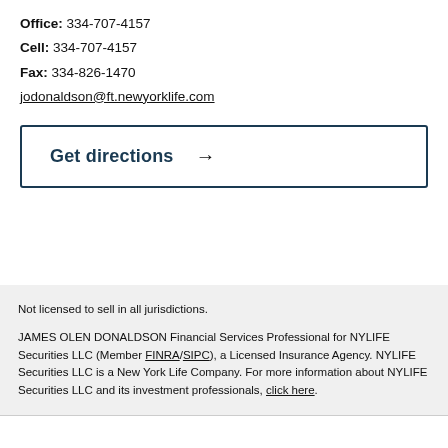Office: 334-707-4157
Cell: 334-707-4157
Fax: 334-826-1470
jodonaldson@ft.newyorklife.com
Get directions →
Not licensed to sell in all jurisdictions. JAMES OLEN DONALDSON Financial Services Professional for NYLIFE Securities LLC (Member FINRA/SIPC), a Licensed Insurance Agency. NYLIFE Securities LLC is a New York Life Company. For more information about NYLIFE Securities LLC and its investment professionals, click here.